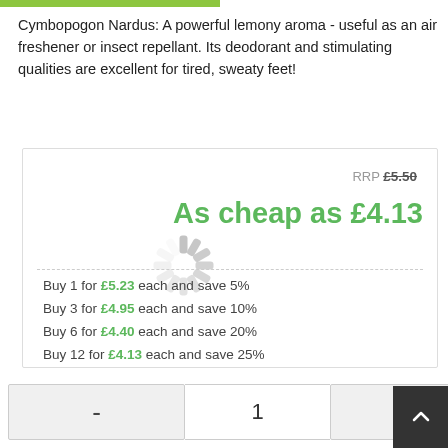Cymbopogon Nardus: A powerful lemony aroma - useful as an air freshener or insect repellant. Its deodorant and stimulating qualities are excellent for tired, sweaty feet!
RRP £5.50
As cheap as £4.13
Buy 1 for £5.23 each and save 5%
Buy 3 for £4.95 each and save 10%
Buy 6 for £4.40 each and save 20%
Buy 12 for £4.13 each and save 25%
🎁 With this product, you earn 6 loyalty points.
- 1 +